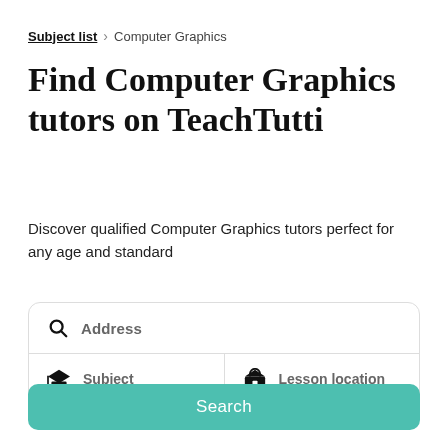Subject list > Computer Graphics
Find Computer Graphics tutors on TeachTutti
Discover qualified Computer Graphics tutors perfect for any age and standard
[Figure (screenshot): Search form with Address field, Subject field, and Lesson location field]
Search